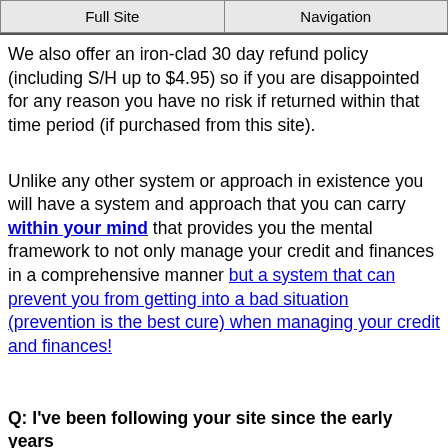Full Site | Navigation
We also offer an iron-clad 30 day refund policy (including S/H up to $4.95) so if you are disappointed for any reason you have no risk if returned within that time period (if purchased from this site).
Unlike any other system or approach in existence you will have a system and approach that you can carry within your mind that provides you the mental framework to not only manage your credit and finances in a comprehensive manner but a system that can prevent you from getting into a bad situation (prevention is the best cure) when managing your credit and finances!
Q: I've been following your site since the early years